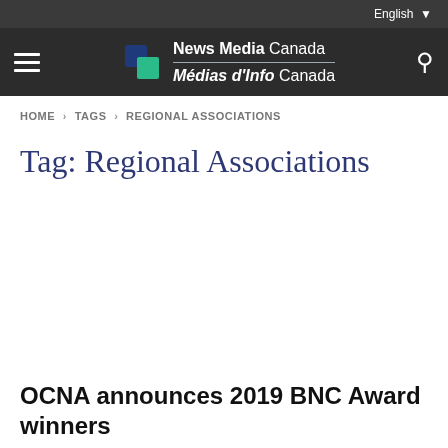English
[Figure (logo): News Media Canada / Médias d'Info Canada logo with blue/teal icon and white text on dark navigation bar]
HOME › TAGS › REGIONAL ASSOCIATIONS
Tag: Regional Associations
OCNA announces 2019 BNC Award winners